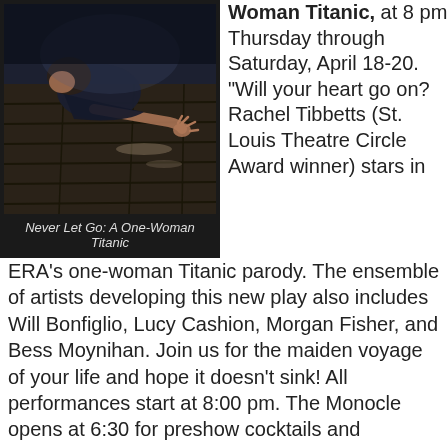[Figure (photo): A person lying on a dark wooden floor, reaching out with one hand, dramatic stage lighting. Caption reads: Never Let Go: A One-Woman Titanic]
Never Let Go: A One-Woman Titanic
Woman Titanic, at 8 pm Thursday through Saturday, April 18-20. "Will your heart go on? Rachel Tibbetts (St. Louis Theatre Circle Award winner) stars in ERA's one-woman Titanic parody. The ensemble of artists developing this new play also includes Will Bonfiglio, Lucy Cashion, Morgan Fisher, and Bess Moynihan. Join us for the maiden voyage of your life and hope it doesn't sink! All performances start at 8:00 pm. The Monocle opens at 6:30 for preshow cocktails and libations. Doors open to the Emerald Room at 7:30pm. Come for a drink and stay for the show!" Performances take place in the Emerald Room at The Monocle on Manchester in The Grove. For more information: themonoclestl.com
My take: Well, no, I haven't actually seen this one, but I have seen the work of nearly everyone associated with it and based on that experience alone, I have to say I don't think